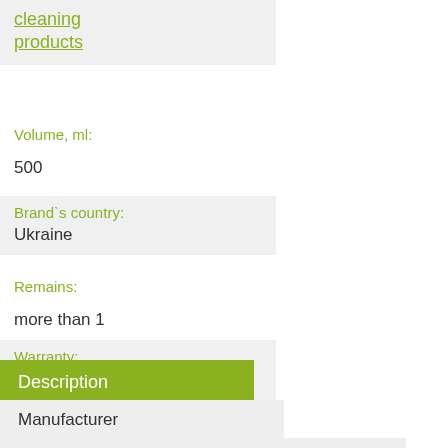cleaning products
Volume, ml:
500
Brand`s country:
Ukraine
Remains:
more than 1
Warranty:
100% original product
Description
Manufacturer
Customer Reviews